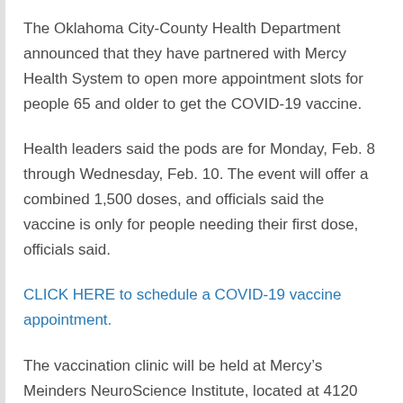The Oklahoma City-County Health Department announced that they have partnered with Mercy Health System to open more appointment slots for people 65 and older to get the COVID-19 vaccine.
Health leaders said the pods are for Monday, Feb. 8 through Wednesday, Feb. 10. The event will offer a combined 1,500 doses, and officials said the vaccine is only for people needing their first dose, officials said.
CLICK HERE to schedule a COVID-19 vaccine appointment.
The vaccination clinic will be held at Mercy’s Meinders NeuroScience Institute, located at 4120 W. Memorial Road. Parking will be available in the lot off West